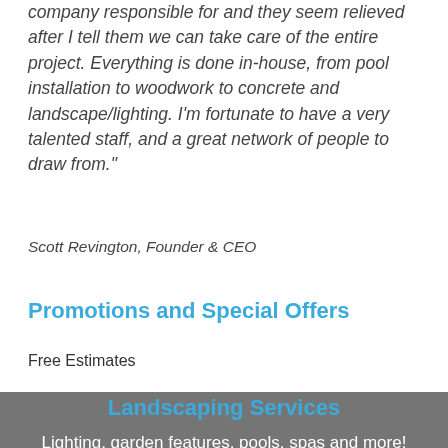company responsible for and they seem relieved after I tell them we can take care of the entire project. Everything is done in-house, from pool installation to woodwork to concrete and landscape/lighting. I'm fortunate to have a very talented staff, and a great network of people to draw from."
Scott Revington, Founder & CEO
Promotions and Special Offers
Free Estimates
Landscaping Services
Lighting, garden features, pools, spas and more!